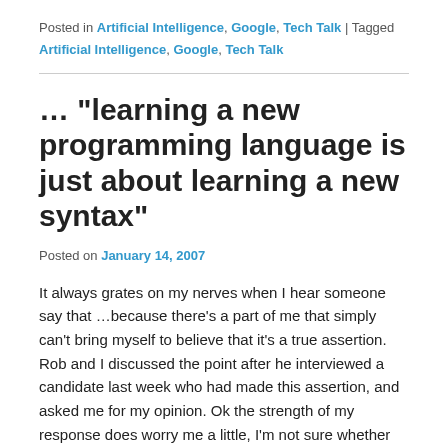Posted in Artificial Intelligence, Google, Tech Talk | Tagged
Artificial Intelligence, Google, Tech Talk
… "learning a new programming language is just about learning a new syntax"
Posted on January 14, 2007
It always grates on my nerves when I hear someone say that …because there's a part of me that simply can't bring myself to believe that it's a true assertion. Rob and I discussed the point after he interviewed a candidate last week who had made this assertion, and asked me for my opinion. Ok the strength of my response does worry me a little, I'm not sure whether I've built a fence around this issue – that's why I'm writing this to see if I've overlooked